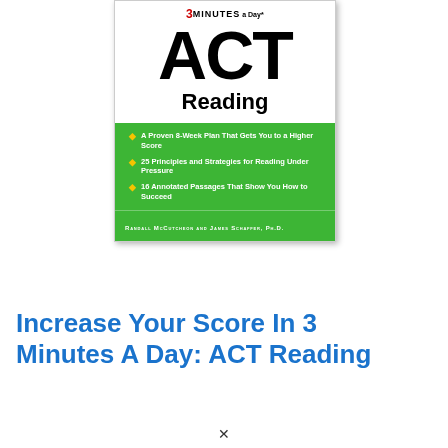[Figure (illustration): Book cover for '3 Minutes a Day ACT Reading' by Randall McCutcheon and James Schaffer, Ph.D. The cover shows '3 MINUTES a Day' at the top, large bold 'ACT' text, 'Reading' below it, a green section with three bullet points: 'A Proven 8-Week Plan That Gets You to a Higher Score', '25 Principles and Strategies for Reading Under Pressure', '16 Annotated Passages That Show You How to Succeed', and author names at the bottom.]
Increase Your Score In 3 Minutes A Day: ACT Reading